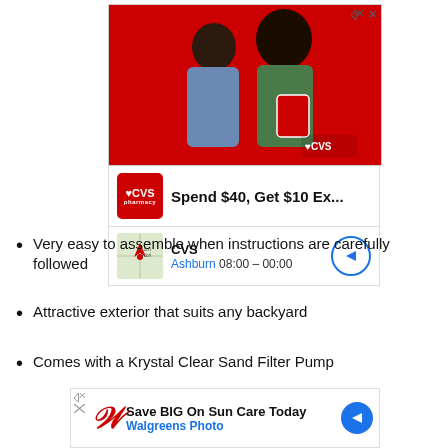[Figure (photo): CVS pharmacy advertisement showing two women on a red background with CVS logo, plus CVS info bar showing 'Spend $40, Get $10 Ex...' and location info for Ashburn 08:00-00:00]
Very easy to assemble when instructions are carefully followed
Attractive exterior that suits any backyard
Comes with a Krystal Clear Sand Filter Pump
[Figure (photo): Walgreens Photo advertisement: Save BIG On Sun Care Today, Walgreens Photo, with navigation arrow button]